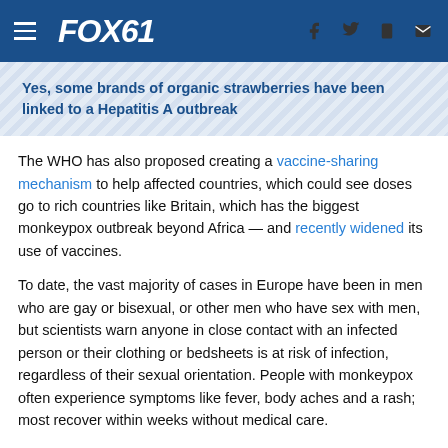FOX61
Yes, some brands of organic strawberries have been linked to a Hepatitis A outbreak
The WHO has also proposed creating a vaccine-sharing mechanism to help affected countries, which could see doses go to rich countries like Britain, which has the biggest monkeypox outbreak beyond Africa — and recently widened its use of vaccines.
To date, the vast majority of cases in Europe have been in men who are gay or bisexual, or other men who have sex with men, but scientists warn anyone in close contact with an infected person or their clothing or bedsheets is at risk of infection, regardless of their sexual orientation. People with monkeypox often experience symptoms like fever, body aches and a rash; most recover within weeks without medical care.